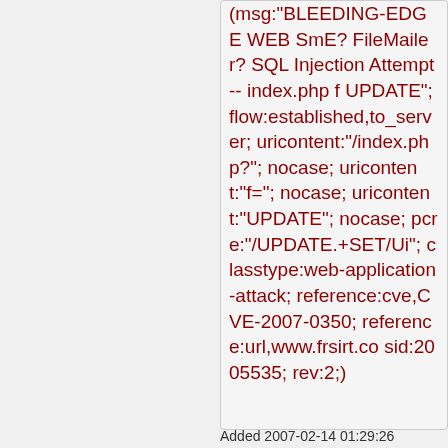(msg:"BLEEDING-EDGE WEB SmE? FileMailer? SQL Injection Attempt -- index.php f UPDATE"; flow:established,to_server; uricontent:"/index.php?"; nocase; uricontent:"f="; nocase; uricontent:"UPDATE"; nocase; pcre:"/UPDATE.+SET/Ui"; classtype:web-application-attack; reference:cve,CVE-2007-0350; reference:url,www.frsirt.co sid:2005535; rev:2;)
Added 2007-02-14 01:29:26